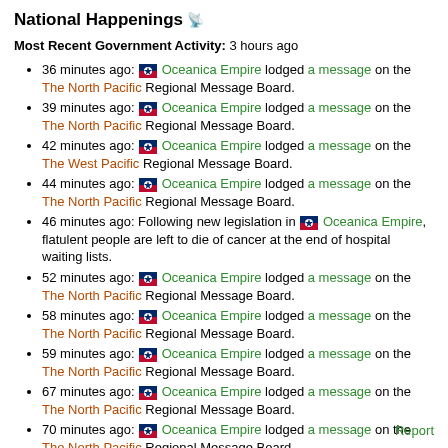National Happenings
Most Recent Government Activity: 3 hours ago
36 minutes ago: Oceanica Empire lodged a message on the The North Pacific Regional Message Board.
39 minutes ago: Oceanica Empire lodged a message on the The North Pacific Regional Message Board.
42 minutes ago: Oceanica Empire lodged a message on the The West Pacific Regional Message Board.
44 minutes ago: Oceanica Empire lodged a message on the The North Pacific Regional Message Board.
46 minutes ago: Following new legislation in Oceanica Empire, flatulent people are left to die of cancer at the end of hospital waiting lists.
52 minutes ago: Oceanica Empire lodged a message on the The North Pacific Regional Message Board.
58 minutes ago: Oceanica Empire lodged a message on the The North Pacific Regional Message Board.
59 minutes ago: Oceanica Empire lodged a message on the The North Pacific Regional Message Board.
67 minutes ago: Oceanica Empire lodged a message on the The North Pacific Regional Message Board.
70 minutes ago: Oceanica Empire lodged a message on the The North Pacific Regional Message Board.
More...
Report